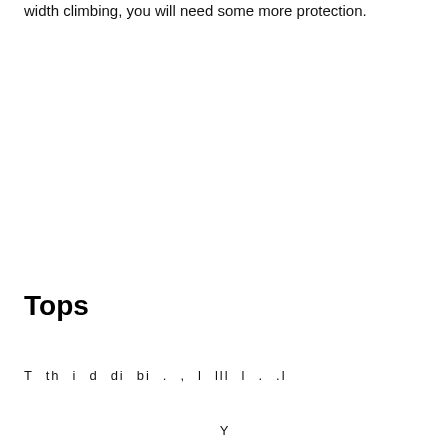width climbing, you will need some more protection.
Tops
T  th  i  d  di  bi  .  ,  l  lll  l  .  .l
Y